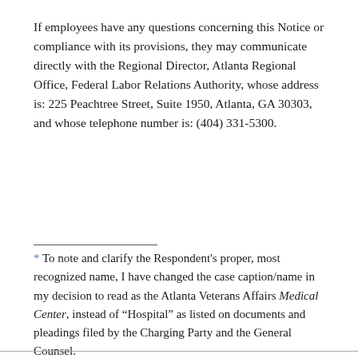If employees have any questions concerning this Notice or compliance with its provisions, they may communicate directly with the Regional Director, Atlanta Regional Office, Federal Labor Relations Authority, whose address is: 225 Peachtree Street, Suite 1950, Atlanta, GA 30303, and whose telephone number is: (404) 331-5300.
* To note and clarify the Respondent’s proper, most recognized name, I have changed the case caption/name in my decision to read as the Atlanta Veterans Affairs Medical Center, instead of “Hospital” as listed on documents and pleadings filed by the Charging Party and the General Counsel.